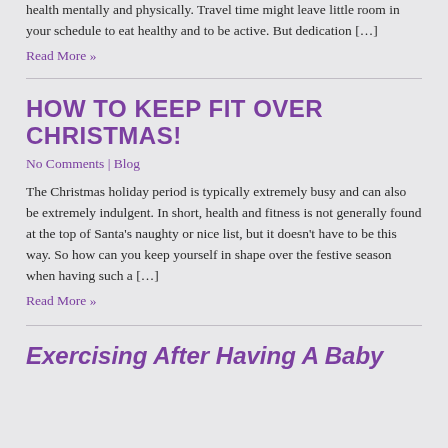health mentally and physically. Travel time might leave little room in your schedule to eat healthy and to be active. But dedication […]
Read More »
HOW TO KEEP FIT OVER CHRISTMAS!
No Comments | Blog
The Christmas holiday period is typically extremely busy and can also be extremely indulgent. In short, health and fitness is not generally found at the top of Santa's naughty or nice list, but it doesn't have to be this way. So how can you keep yourself in shape over the festive season when having such a […]
Read More »
Exercising After Having A Baby